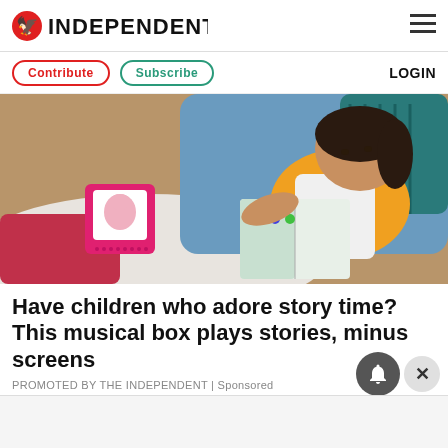INDEPENDENT
Contribute | Subscribe | LOGIN
[Figure (photo): A young girl in a yellow polka dot shirt and white apron lies on cushions reading a book, with a pink Tonies audio box nearby]
Have children who adore story time? This musical box plays stories, minus screens
PROMOTED BY THE INDEPENDENT | Sponsored